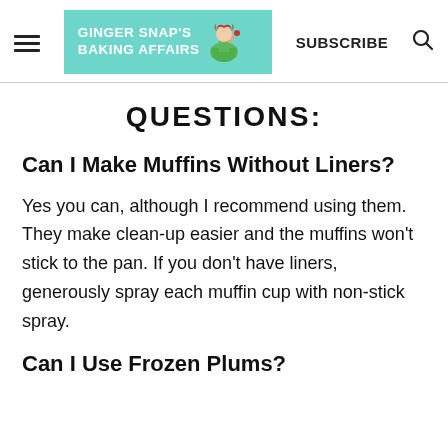GINGER SNAP'S BAKING AFFAIRS | SUBSCRIBE
QUESTIONS:
Can I Make Muffins Without Liners?
Yes you can, although I recommend using them. They make clean-up easier and the muffins won't stick to the pan. If you don't have liners, generously spray each muffin cup with non-stick spray.
Can I Use Frozen Plums?